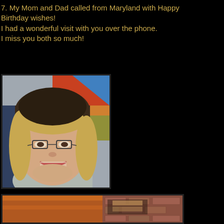7. My Mom and Dad called from Maryland with Happy Birthday wishes!
I had a wonderful visit with you over the phone.
I miss you both so much!
[Figure (photo): Portrait photo of a middle-aged woman with short blonde hair and glasses, smiling, seated in front of a colorful quilt or chair fabric.]
[Figure (photo): Partial photo showing an orange/brown background (possibly wood paneling) and a brick wall on the right side.]